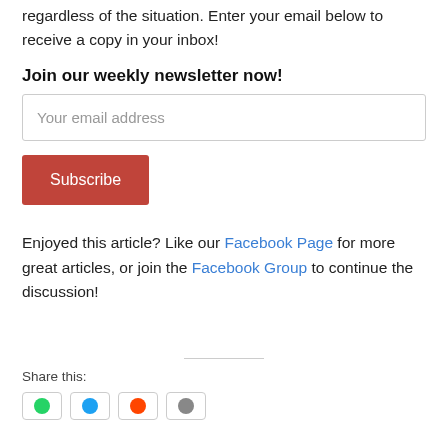regardless of the situation. Enter your email below to receive a copy in your inbox!
Join our weekly newsletter now!
Your email address
Subscribe
Enjoyed this article? Like our Facebook Page for more great articles, or join the Facebook Group to continue the discussion!
Share this: